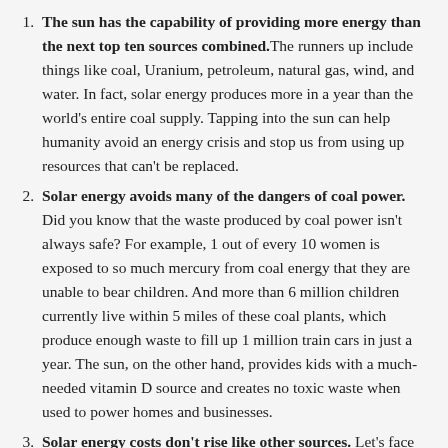The sun has the capability of providing more energy than the next top ten sources combined. The runners up include things like coal, Uranium, petroleum, natural gas, wind, and water. In fact, solar energy produces more in a year than the world's entire coal supply. Tapping into the sun can help humanity avoid an energy crisis and stop us from using up resources that can't be replaced.
Solar energy avoids many of the dangers of coal power. Did you know that the waste produced by coal power isn't always safe? For example, 1 out of every 10 women is exposed to so much mercury from coal energy that they are unable to bear children. And more than 6 million children currently live within 5 miles of these coal plants, which produce enough waste to fill up 1 million train cars in just a year. The sun, on the other hand, provides kids with a much-needed vitamin D source and creates no toxic waste when used to power homes and businesses.
Solar energy costs don't rise like other sources. Let's face it: power in the United States is getting expensive.